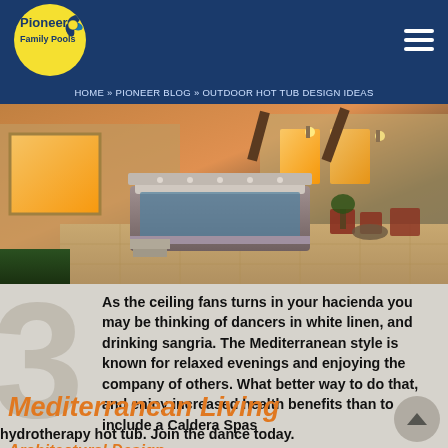Pioneer Family Pools
HOME » PIONEER BLOG » OUTDOOR HOT TUB DESIGN IDEAS
[Figure (photo): Outdoor hot tub / spa on a stone patio at dusk with warm interior lighting from house windows, patio furniture with red cushions, and landscaped garden]
As the ceiling fans turns in your hacienda you may be thinking of dancers in white linen, and drinking sangria. The Mediterranean style is known for relaxed evenings and enjoying the company of others. What better way to do that, and enjoy increased health benefits than to include a Caldera Spas
Mediterranean Living
hydrotherapy hot tub. Join the dance today.
Architectural Design